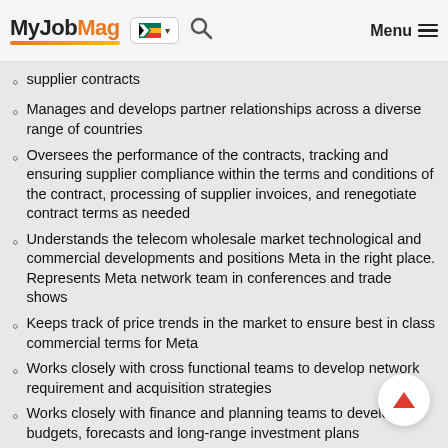MyJobMag [South Africa flag] [Search] Menu
supplier contracts
Manages and develops partner relationships across a diverse range of countries
Oversees the performance of the contracts, tracking and ensuring supplier compliance within the terms and conditions of the contract, processing of supplier invoices, and renegotiate contract terms as needed
Understands the telecom wholesale market technological and commercial developments and positions Meta in the right place. Represents Meta network team in conferences and trade shows
Keeps track of price trends in the market to ensure best in class commercial terms for Meta
Works closely with cross functional teams to develop network requirement and acquisition strategies
Works closely with finance and planning teams to develop budgets, forecasts and long-range investment plans